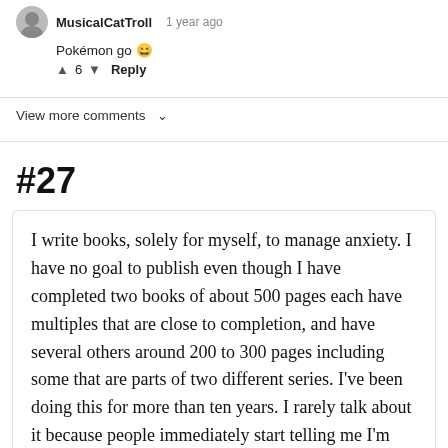MusicalCatTroll  1 year ago
Pokémon go 😄
↑ 6 ↓  Reply
View more comments ∨
#27
I write books, solely for myself, to manage anxiety. I have no goal to publish even though I have completed two books of about 500 pages each have multiples that are close to completion, and have several others around 200 to 300 pages including some that are parts of two different series. I've been doing this for more than ten years. I rarely talk about it because people immediately start telling me I'm need to publish them or there no point in spending so much time on it.